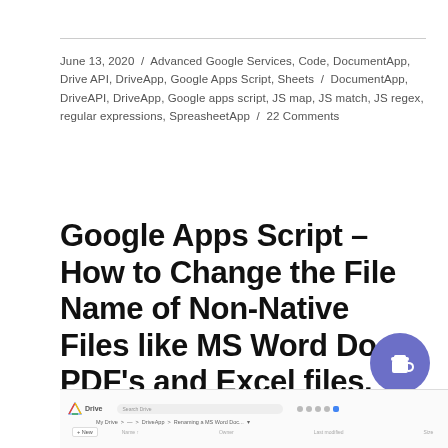June 13, 2020  /  Advanced Google Services, Code, DocumentApp, Drive API, DriveApp, Google Apps Script, Sheets  /  DocumentApp, DriveAPI, DriveApp, Google apps script, JS map, JS match, JS regex, regular expressions, SpreasheetApp  /  22 Comments
Google Apps Script – How to Change the File Name of Non-Native Files like MS Word Docs, PDF's and Excel files.
[Figure (screenshot): Screenshot of Google Drive interface showing the Drive header with search bar, breadcrumb navigation showing My Drive > DriveApp > Renaming a MS Word Doc, and a file listing area.]